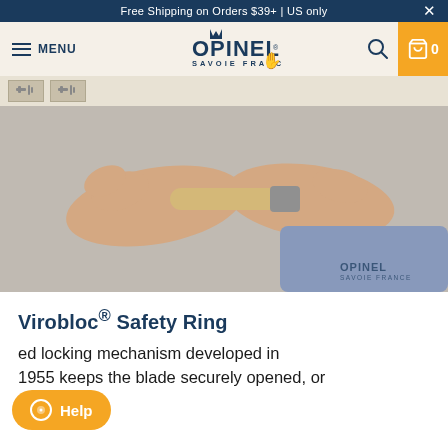Free Shipping on Orders $39+ | US only
[Figure (logo): Opinel Savoie France logo with crown and hand symbol]
[Figure (photo): Two hands holding an Opinel folding knife handle, demonstrating the Virobloc safety ring mechanism. Opinel Savoie France watermark visible in bottom right corner.]
Virobloc® Safety Ring
ed locking mechanism developed in 1955 keeps the blade securely opened, or